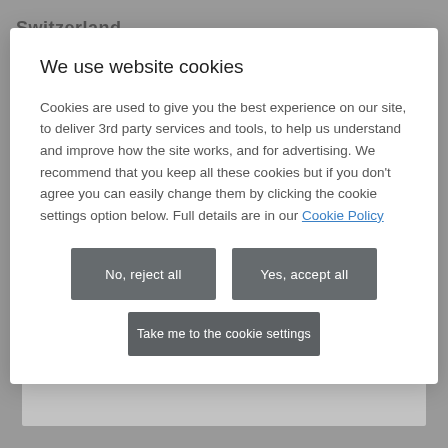We use website cookies
Cookies are used to give you the best experience on our site, to deliver 3rd party services and tools, to help us understand and improve how the site works, and for advertising. We recommend that you keep all these cookies but if you don't agree you can easily change them by clicking the cookie settings option below. Full details are in our Cookie Policy
No, reject all
Yes, accept all
Take me to the cookie settings
Toyota in Europe
Book a service